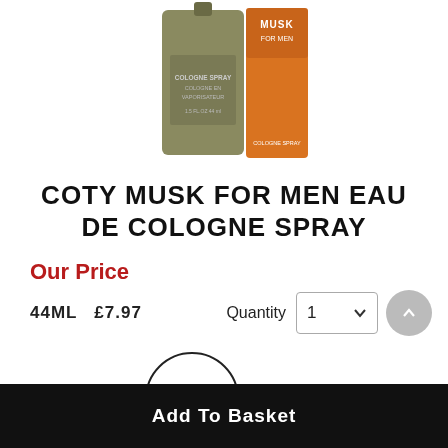[Figure (photo): Product photo of Coty Musk for Men cologne spray bottles — a metallic green/olive bottle and an orange bottle side by side]
COTY MUSK FOR MEN EAU DE COLOGNE SPRAY
Our Price
44ML  £7.97
Quantity  1
Size   44ML £7.97
Add To Basket